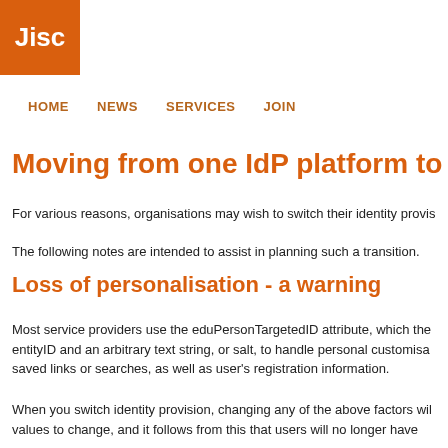Jisc
HOME   NEWS   SERVICES   JOIN
Moving from one IdP platform to anoth...
For various reasons, organisations may wish to switch their identity provis...
The following notes are intended to assist in planning such a transition.
Loss of personalisation - a warning
Most service providers use the eduPersonTargetedID attribute, which the entityID and an arbitrary text string, or salt, to handle personal customisa... saved links or searches, as well as user's registration information.
When you switch identity provision, changing any of the above factors wil... values to change, and it follows from this that users will no longer have ...